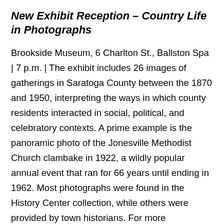New Exhibit Reception – Country Life in Photographs
Brookside Museum, 6 Charlton St., Ballston Spa | 7 p.m. | The exhibit includes 26 images of gatherings in Saratoga County between the 1870 and 1950, interpreting the ways in which county residents interacted in social, political, and celebratory contexts. A prime example is the panoramic photo of the Jonesville Methodist Church clambake in 1922, a wildly popular annual event that ran for 66 years until ending in 1962. Most photographs were found in the History Center collection, while others were provided by town historians. For more information visit